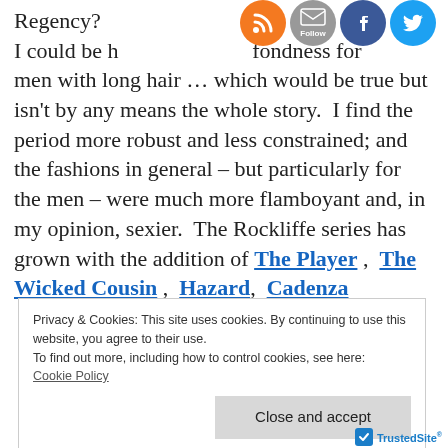Regency? I could be happy with it — I have a fondness for men with long hair … which would be true but isn't by any means the whole story. I find the period more robust and less constrained; and the fashions in general – but particularly for the men – were much more flamboyant and, in my opinion, sexier. The Rockliffe series has grown with the addition of The Player, The Wicked Cousin, Hazard, Cadenza
[Figure (other): Social media icons: RSS feed (orange), Email/Follow (grey), Facebook (blue), Twitter (light blue)]
Privacy & Cookies: This site uses cookies. By continuing to use this website, you agree to their use.
To find out more, including how to control cookies, see here:
Cookie Policy

Close and accept
[Figure (logo): TrustedSite logo with checkmark badge]